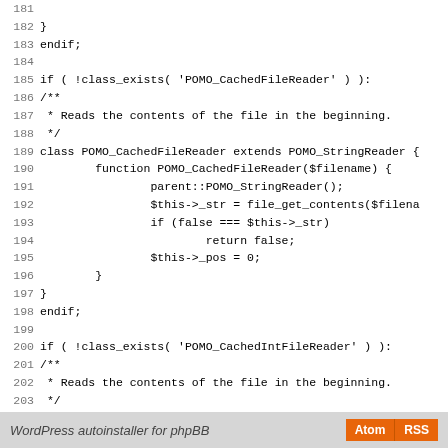[Figure (screenshot): PHP source code snippet showing lines 181-209 with class definitions for POMO_CachedFileReader and POMO_CachedIntFileReader]
WordPress autoinstaller for phpBB  Atom  RSS